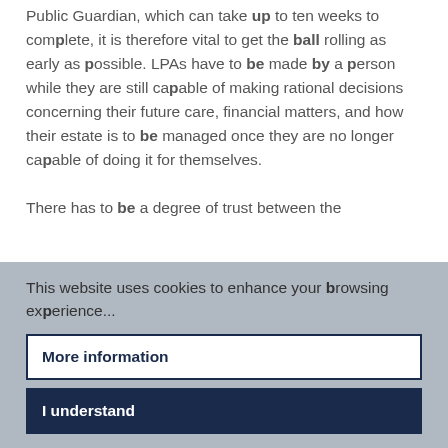Public Guardian, which can take up to ten weeks to complete, it is therefore vital to get the ball rolling as early as possible. LPAs have to be made by a person while they are still capable of making rational decisions concerning their future care, financial matters, and how their estate is to be managed once they are no longer capable of doing it for themselves.

There has to be a degree of trust between the
This website uses cookies to enhance your browsing experience...
More information
I understand